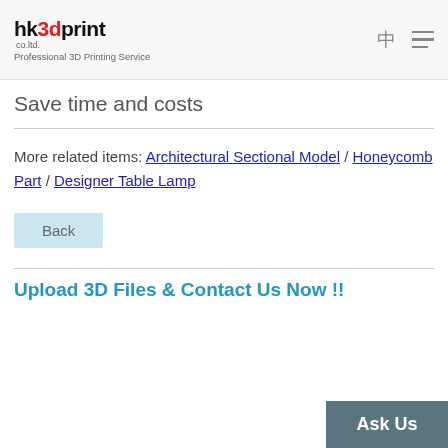hk3dprint co.ltd. Professional 3D Printing Service
Save time and costs
More related items: Architectural Sectional Model / Honeycomb Part / Designer Table Lamp
Back
Upload 3D Files & Contact Us Now !!
Ask Us